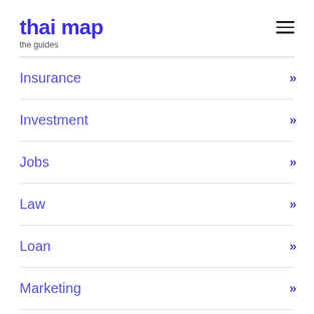thai map
the guides
Insurance »
Investment »
Jobs »
Law »
Loan »
Marketing »